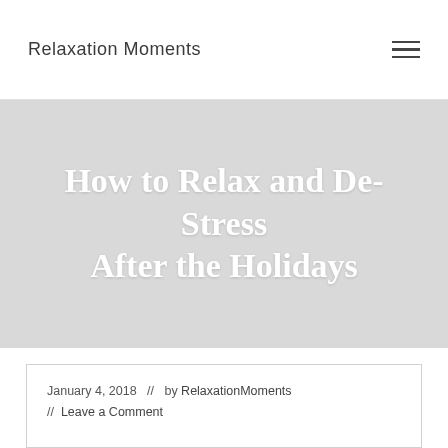Relaxation Moments
How to Relax and De-Stress After the Holidays
January 4, 2018  //  by RelaxationMoments // Leave a Comment